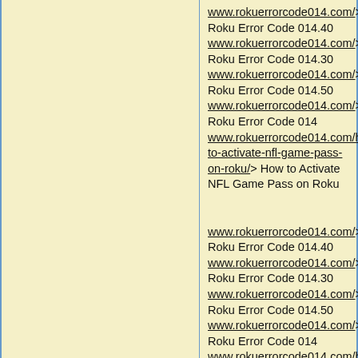www.rokuerrorcode014.com/> Roku Error Code 014.40 www.rokuerrorcode014.com/> Roku Error Code 014.30 www.rokuerrorcode014.com/> Roku Error Code 014.50 www.rokuerrorcode014.com/> Roku Error Code 014 www.rokuerrorcode014.com/how-to-activate-nfl-game-pass-on-roku/> How to Activate NFL Game Pass on Roku
www.rokuerrorcode014.com/> Roku Error Code 014.40 www.rokuerrorcode014.com/> Roku Error Code 014.30 www.rokuerrorcode014.com/> Roku Error Code 014.50 www.rokuerrorcode014.com/> Roku Error Code 014 www.rokuerrorcode014.com/how-to-activate-nfl-game-pass-on-roku/> How to Activate NFL Game Pass on Roku
www.rokuerrorcode014.com/>